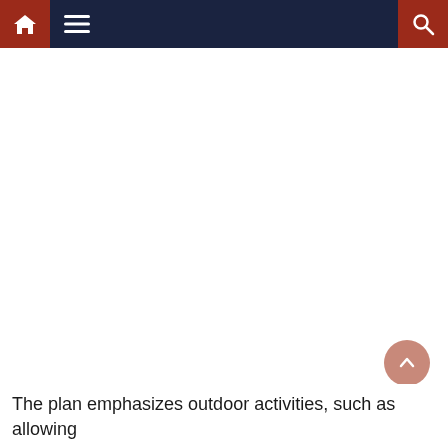Navigation bar with home, menu, and search icons
The plan emphasizes outdoor activities, such as allowing